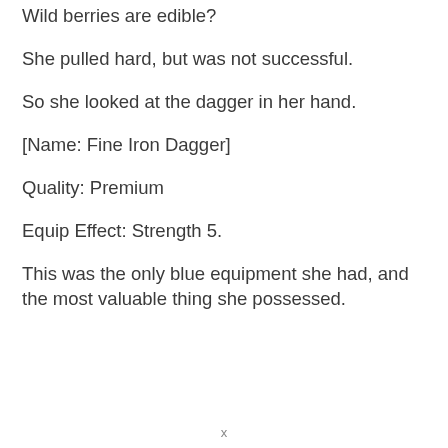Wild berries are edible?
She pulled hard, but was not successful.
So she looked at the dagger in her hand.
[Name: Fine Iron Dagger]
Quality: Premium
Equip Effect: Strength 5.
This was the only blue equipment she had, and the most valuable thing she possessed.
x